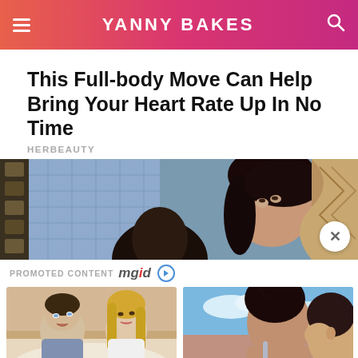YANNY BAKES
This Full-body Move Can Help Bring Your Heart Rate Up In No Time
HERBEAUTY
[Figure (photo): Banner image showing two people, a woman with dark hair visible in right portion against a decorative background. Close X button in bottom-right corner.]
PROMOTED CONTENT mgid
[Figure (photo): Thumbnail of two people (man and woman) from a 90s TV show scene in bed]
6 Of The Best 90s Shows That Need To Come Back ASAP
[Figure (photo): Thumbnail of two people kissing outdoors with blue sky background]
7 Steps To Turn A Negative Relationship Into A Positive One